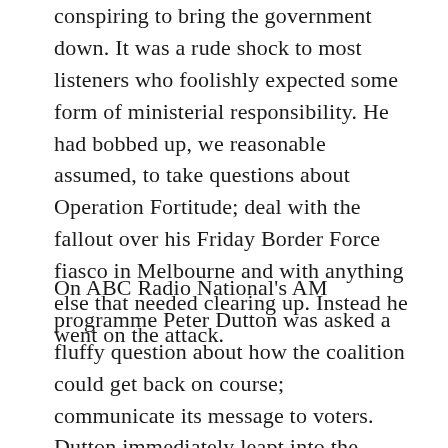conspiring to bring the government down. It was a rude shock to most listeners who foolishly expected some form of ministerial responsibility. He had bobbed up, we reasonable assumed, to take questions about Operation Fortitude; deal with the fallout over his Friday Border Force fiasco in Melbourne and with anything else that needed clearing up. Instead he went on the attack.
On ABC Radio National's AM programme Peter Dutton was asked a fluffy question about how the coalition could get back on course; communicate its message to voters. Dutton immediately leapt into the media. It was not